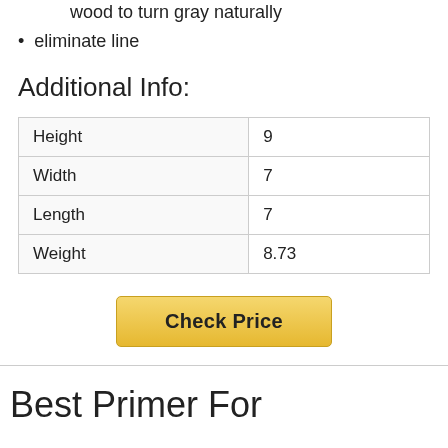color tints. Clear formula allows wood to turn gray naturally
eliminate line
Additional Info:
| Height | 9 |
| Width | 7 |
| Length | 7 |
| Weight | 8.73 |
Check Price
Best Primer For